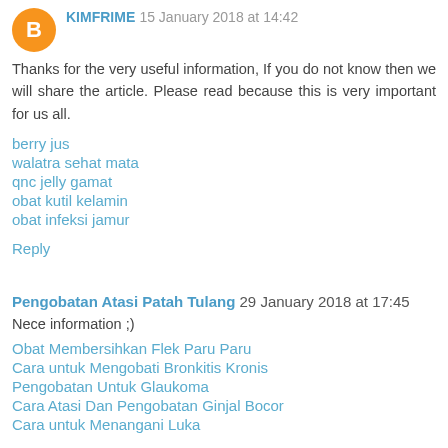KIMFRIME 15 January 2018 at 14:42
Thanks for the very useful information, If you do not know then we will share the article. Please read because this is very important for us all.
berry jus
walatra sehat mata
qnc jelly gamat
obat kutil kelamin
obat infeksi jamur
Reply
Pengobatan Atasi Patah Tulang  29 January 2018 at 17:45
Nece information ;)
Obat Membersihkan Flek Paru Paru
Cara untuk Mengobati Bronkitis Kronis
Pengobatan Untuk Glaukoma
Cara Atasi Dan Pengobatan Ginjal Bocor
Cara untuk Menangani Luka